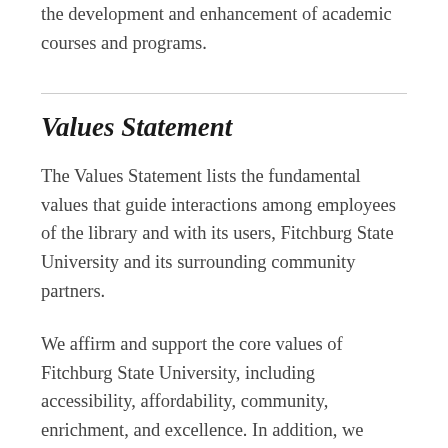the development and enhancement of academic courses and programs.
Values Statement
The Values Statement lists the fundamental values that guide interactions among employees of the library and with its users, Fitchburg State University and its surrounding community partners.
We affirm and support the core values of Fitchburg State University, including accessibility, affordability, community, enrichment, and excellence. In addition, we